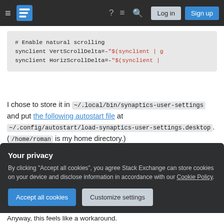Stack Exchange navigation bar with hamburger menu, logo, help, chat, search icons, Log in and Sign up buttons
[Figure (screenshot): Code block showing shell commands: # Enable natural scrolling, synclient VertScrollDelta=-"$(synclient | g, synclient HorizScrollDelta=-"$(synclient |]
I chose to store it in ~/.local/bin/synaptics-user-settings and put the following autostart file at ~/.config/autostart/load-synaptics-user-settings.desktop. (/home/roman is my home directory.)
[Figure (screenshot): Partial code block visible at bottom before privacy overlay]
Your privacy
By clicking "Accept all cookies", you agree Stack Exchange can store cookies on your device and disclose information in accordance with our Cookie Policy.
Accept all cookies   Customize settings
Anyway, this feels like a workaround.